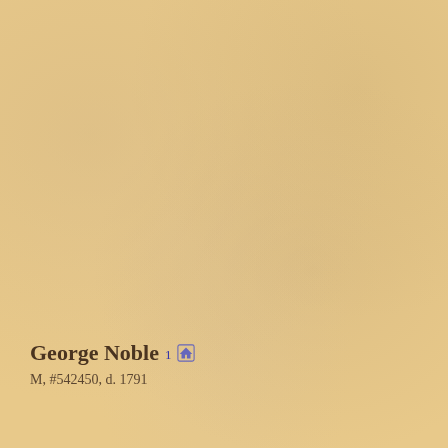George Noble¹ 🏠
M, #542450, d. 1791